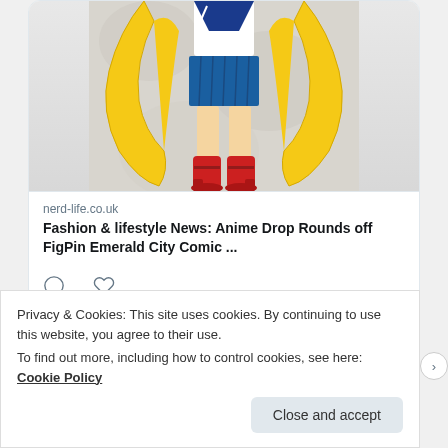[Figure (illustration): Partial anime/manga style figure illustration (Sailor Moon style) showing lower body with yellow twin-tail hair extensions, blue pleated skirt, red high-heeled boots. Appears to be a FigPin collectible figure on a light grey mottled background.]
nerd-life.co.uk
Fashion & lifestyle News: Anime Drop Rounds off FigPin Emerald City Comic ...
[Figure (illustration): Two social action icons: speech bubble (comment) and heart (like)]
[Figure (photo): Circular avatar for Nerd Life UK Twitter account, showing a small dark cartoon robot/toy figure on a grey background.]
Nerd Life UK @figures_n · Aug 17
Fashion & Lifestyle News: A Set of #Loungefly Bags Comes Exclusively to
Privacy & Cookies: This site uses cookies. By continuing to use this website, you agree to their use.
To find out more, including how to control cookies, see here: Cookie Policy
Close and accept